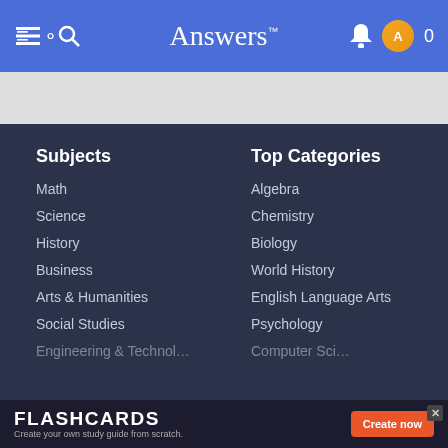Answers
Subjects
Math
Science
History
Business
Arts & Humanities
Social Studies
Engineering & Technology (partial)
Top Categories
Algebra
Chemistry
Biology
World History
English Language Arts
Psychology
Computer Science (partial)
FLASHCARDS Create your own study guide from scratch.
Create now